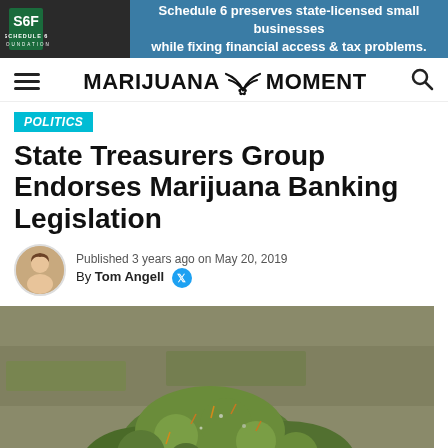[Figure (screenshot): Schedule 6 Foundation ad banner with logo and text]
Marijuana Moment — navigation header with hamburger menu and search icon
POLITICS
State Treasurers Group Endorses Marijuana Banking Legislation
Published 3 years ago on May 20, 2019
By Tom Angell
[Figure (photo): Close-up photo of marijuana cannabis buds with US dollar bills blurred in background]